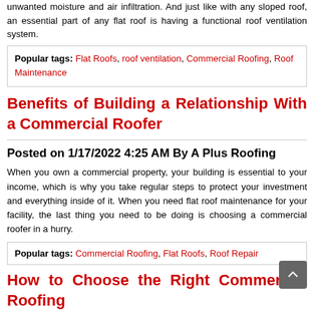unwanted moisture and air infiltration. And just like with any sloped roof, an essential part of any flat roof is having a functional roof ventilation system.
Popular tags: Flat Roofs, roof ventilation, Commercial Roofing, Roof Maintenance
Benefits of Building a Relationship With a Commercial Roofer
Posted on 1/17/2022 4:25 AM By A Plus Roofing
When you own a commercial property, your building is essential to your income, which is why you take regular steps to protect your investment and everything inside of it. When you need flat roof maintenance for your facility, the last thing you need to be doing is choosing a commercial roofer in a hurry.
Popular tags: Commercial Roofing, Flat Roofs, Roof Repair
How to Choose the Right Commercial Roofing